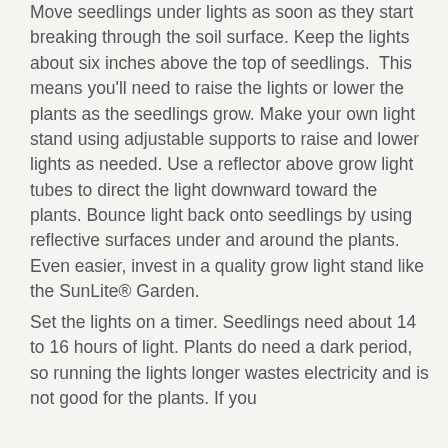Move seedlings under lights as soon as they start breaking through the soil surface. Keep the lights about six inches above the top of seedlings.  This means you'll need to raise the lights or lower the plants as the seedlings grow. Make your own light stand using adjustable supports to raise and lower lights as needed. Use a reflector above grow light tubes to direct the light downward toward the plants. Bounce light back onto seedlings by using reflective surfaces under and around the plants. Even easier, invest in a quality grow light stand like the SunLite® Garden.
Set the lights on a timer. Seedlings need about 14 to 16 hours of light. Plants do need a dark period, so running the lights longer wastes electricity and is not good for the plants. If you